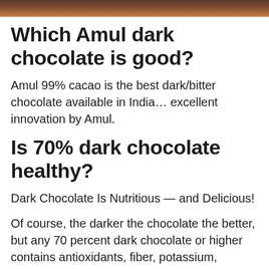[Figure (photo): Top strip of a photo, likely showing a person or food item related to chocolate]
Which Amul dark chocolate is good?
Amul 99% cacao is the best dark/bitter chocolate available in India… excellent innovation by Amul.
Is 70% dark chocolate healthy?
Dark Chocolate Is Nutritious — and Delicious!
Of course, the darker the chocolate the better, but any 70 percent dark chocolate or higher contains antioxidants, fiber, potassium, calcium, copper, and magnesium, according to a study published in the journal